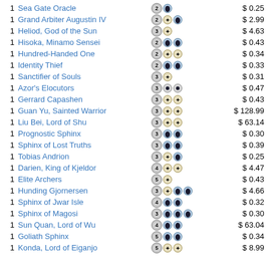1  Sea Gate Oracle  2U  $0.25
1  Grand Arbiter Augustin IV  2WU  $2.99
1  Heliod, God of the Sun  3W  $4.63
1  Hisoka, Minamo Sensei  2UU  $0.43
1  Hundred-Handed One  2WW  $0.34
1  Identity Thief  2UU  $0.33
1  Sanctifier of Souls  3W  $0.31
1  Azor's Elocutors  3WU  $0.47
1  Gerrard Capashen  3WW  $0.43
1  Guan Yu, Sainted Warrior  3WW  $128.99
1  Liu Bei, Lord of Shu  3WW  $63.14
1  Prognostic Sphinx  3UU  $0.30
1  Sphinx of Lost Truths  3UU  $0.39
1  Tobias Andrion  3WU  $0.25
1  Darien, King of Kjeldor  4WW  $4.47
1  Elite Archers  5W  $0.43
1  Hunding Gjornersen  3WUU  $4.66
1  Sphinx of Jwar Isle  4UU  $0.32
1  Sphinx of Magosi  3UUU  $0.30
1  Sun Quan, Lord of Wu  4UU  $63.04
1  Goliath Sphinx  5UU  $0.34
1  Konda, Lord of Eiganjo  5WW  $8.99